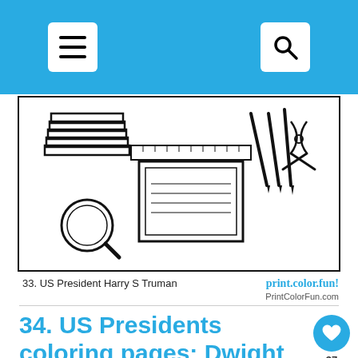[Figure (illustration): Coloring page showing a desk with books, papers, magnifying glass, scissors, pencils and other stationery items — US President Harry S Truman themed coloring page]
33. US President Harry S Truman    print.color.fun!  PrintColorFun.com
34. US Presidents coloring pages: Dwight 'Ike' Eisenhower
Ike Eisenhower appears on the US dollar coin.